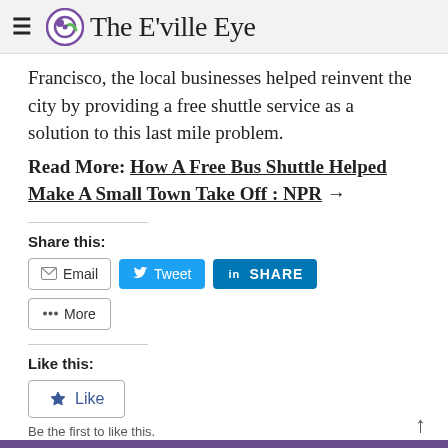The E'ville Eye
Francisco, the local businesses helped reinvent the city by providing a free shuttle service as a solution to this last mile problem.
Read More: How A Free Bus Shuttle Helped Make A Small Town Take Off : NPR →
Share this:
[Figure (other): Share buttons: Email, Tweet, LinkedIn SHARE, More]
Like this:
[Figure (other): Like button]
Be the first to like this.